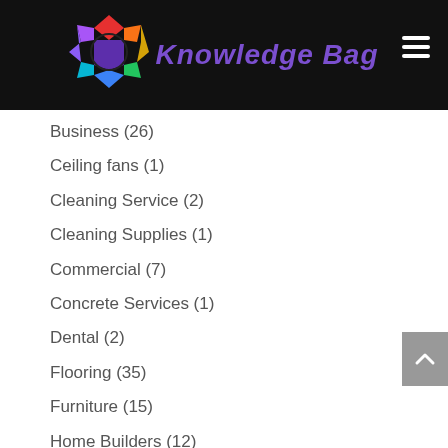[Figure (logo): Knowledge Bag website header with colorful star/polygon logo and site name in purple italic text on black background, with hamburger menu icon top right]
Business (26)
Ceiling fans (1)
Cleaning Service (2)
Cleaning Supplies (1)
Commercial (7)
Concrete Services (1)
Dental (2)
Flooring (35)
Furniture (15)
Home Builders (12)
Home Improvement (162)
Home Safety (9)
Printing (1)